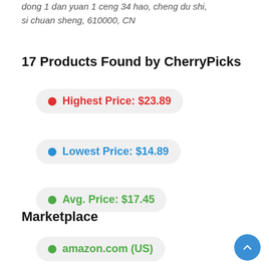dong 1 dan yuan 1 ceng 34 hao, cheng du shi, si chuan sheng, 610000, CN
17 Products Found by CherryPicks
Highest Price: $23.89
Lowest Price: $14.89
Avg. Price: $17.45
Marketplace
amazon.com (US)